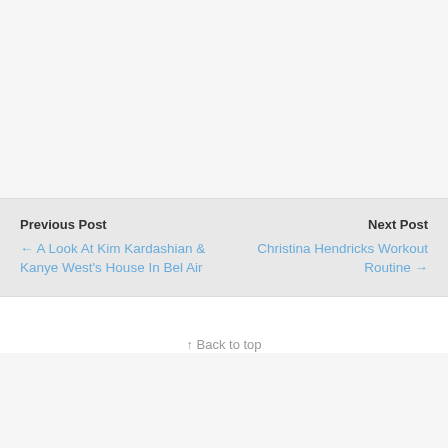Previous Post
← A Look At Kim Kardashian & Kanye West's House In Bel Air
Next Post
Christina Hendricks Workout Routine →
↑ Back to top